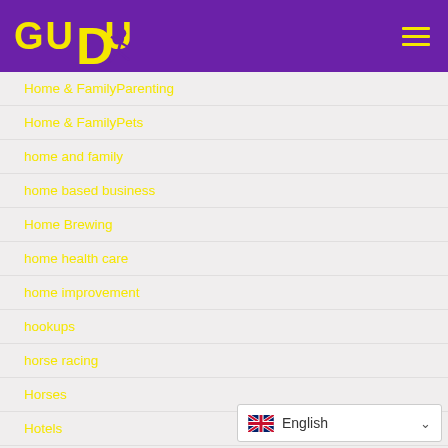GUDU (logo with runner icon)
Home & FamilyParenting
Home & FamilyPets
home and family
home based business
Home Brewing
home health care
home improvement
hookups
horse racing
Horses
Hotels
House Plans
English